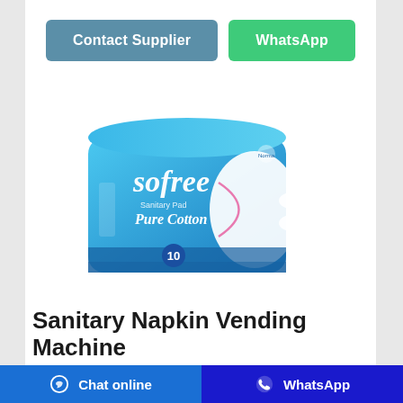[Figure (other): Two buttons: 'Contact Supplier' (teal/blue) and 'WhatsApp' (green)]
[Figure (photo): Product image of Sofree Sanitary Pad Pure Cotton package (blue packaging, count of 10)]
Sanitary Napkin Vending Machine and Sanitary Napkin ...
We are one of the leading manufacturers of FH - Feminine Hygiene products like, sanitary napkin vending machine, sanitary napkin destroyers, coffee/ tea vending machines, bavareages, pad vending machine, baby/adult diaper incinerators and customized vending and incinerator machines.
Chat online   WhatsApp